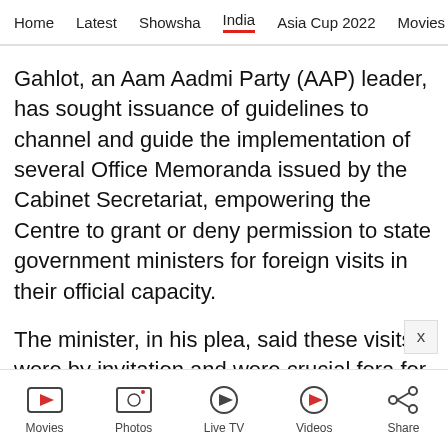Home  Latest  Showsha  India  Asia Cup 2022  Movies  Cricket
Gahlot, an Aam Aadmi Party (AAP) leader, has sought issuance of guidelines to channel and guide the implementation of several Office Memoranda issued by the Cabinet Secretariat, empowering the Centre to grant or deny permission to state government ministers for foreign visits in their official capacity.
The minister, in his plea, said these visits were by invitation and were crucial fora for exchanging ideas on improving urban
Movies  Photos  Live TV  Videos  Share